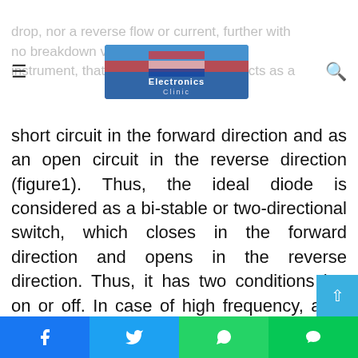Electronics Clinic
drop, nor a reverse flow or current, further with no breakdown voltage. It is a device or instrument, that acts like a switch, acts as a short circuit in the forward direction and as an open circuit in the reverse direction (figure1). Thus, the ideal diode is considered as a bi-stable or two-directional switch, which closes in the forward direction and opens in the reverse direction. Thus, it has two conditions i.e. on or off. In case of high frequency, as a diode turns on or off (due to a rapid change in direction of the cycle)(i.e. it has to change consistently from a conducting condition to a non-conducting condition). Thus, it functions as a switch on high frequency as well. Remember, the on /off of a diode depends o
Facebook  Twitter  WhatsApp  LINE